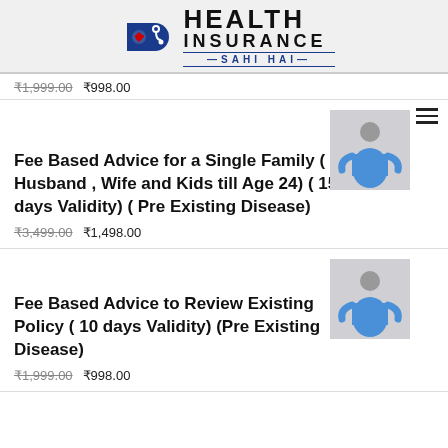[Figure (logo): Health Insurance Sahi Hai logo with stethoscope/pill icon in blue and red, with text HEALTH INSURANCE and SAHI HAI]
₹1,999.00 ₹998.00
[Figure (photo): Thumbnail photo of a man in blue shirt sitting with arms crossed]
Fee Based Advice for a Single Family ( Husband , Wife and Kids till Age 24) ( 15 days Validity) ( Pre Existing Disease)
₹3,499.00 ₹1,498.00
[Figure (photo): Thumbnail photo of a man in blue shirt sitting with arms crossed]
Fee Based Advice to Review Existing Policy ( 10 days Validity) (Pre Existing Disease)
₹1,999.00 ₹998.00